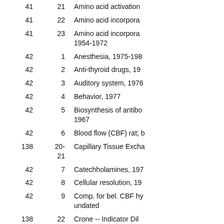| Box | Folder | Description |
| --- | --- | --- |
| 41 | 21 | Amino acid activation |
| 41 | 22 | Amino acid incorpora… |
| 41 | 23 | Amino acid incorpora… 1954-1972 |
| 42 | 1 | Anesthesia, 1975-198… |
| 42 | 2 | Anti-thyroid drugs, 19… |
| 42 | 3 | Auditory system, 1976… |
| 42 | 4 | Behavior, 1977 |
| 42 | 5 | Biosynthesis of antibo… 1967 |
| 42 | 6 | Blood flow (CBF) rat; b… |
| 138 | 20-21 | Capillary Tissue Excha… |
| 42 | 7 | Catechholamines, 197… |
| 42 | 8 | Cellular resolution, 19… |
| 42 | 9 | Comp. for bel. CBF hy… undated |
| 138 | 22 | Crone -- Indicator Dil… Technique, 1963-1990… |
| 138 | 23 | Deoxyglucose Metho… |